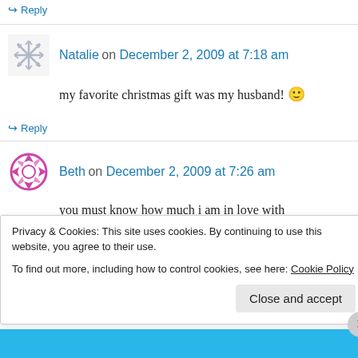↪ Reply
Natalie on December 2, 2009 at 7:18 am
my favorite christmas gift was my husband! 🙂
↪ Reply
Beth on December 2, 2009 at 7:26 am
you must know how much i am in love with
Privacy & Cookies: This site uses cookies. By continuing to use this website, you agree to their use.
To find out more, including how to control cookies, see here: Cookie Policy
Close and accept